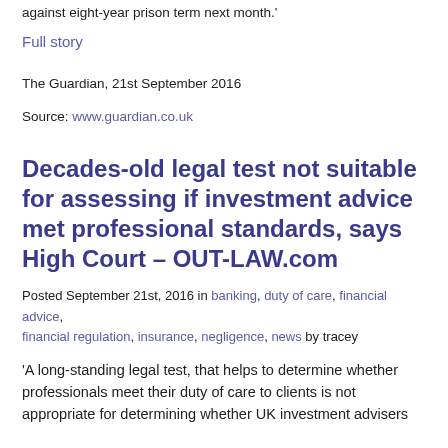against eight-year prison term next month.'
Full story
The Guardian, 21st September 2016
Source: www.guardian.co.uk
Decades-old legal test not suitable for assessing if investment advice met professional standards, says High Court – OUT-LAW.com
Posted September 21st, 2016 in banking, duty of care, financial advice, financial regulation, insurance, negligence, news by tracey
'A long-standing legal test, that helps to determine whether professionals meet their duty of care to clients is not appropriate for determining whether UK investment advisers